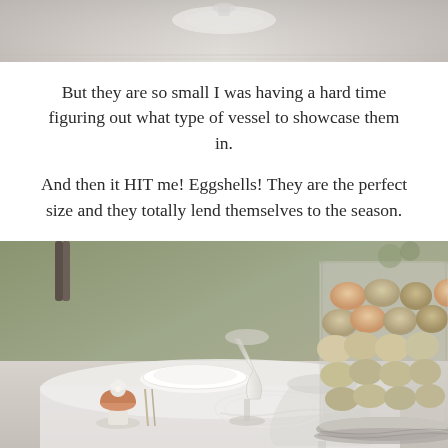[Figure (photo): Top portion of a table setting photo, showing a plate and cloth, cropped at the top of the page]
But they are so small I was having a hard time figuring out what type of vessel to showcase them in.
And then it HIT me!  Eggshells!  They are the perfect size and they totally lend themselves to the season.
[Figure (photo): A table setting with glassware, flowers in an eggshell vase, white plates, and a large glass jar filled with brown and cream/green eggs on a silver tray]